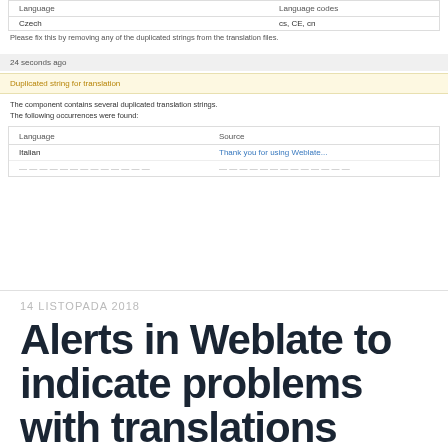| Language | Language codes |
| --- | --- |
| Czech | cs, CE, cn |
Please fix this by removing any of the duplicated strings from the translation files.
24 seconds ago
Duplicated string for translation
The component contains several duplicated translation strings.
The following occurrences were found:
| Language | Source |
| --- | --- |
| Italian | Thank you for using Weblate... |
| ... | ... |
14 LISTOPADA 2018
Alerts in Weblate to indicate problems with translations
Upcoming Weblate 3.3 will bring new feature called alerts. This is one place location where you will see problems in your translations. Right now it mostly